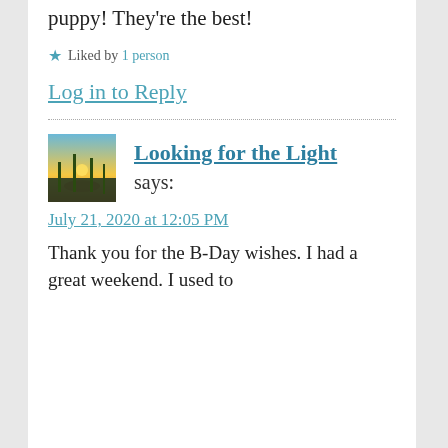puppy! They're the best!
★ Liked by 1 person
Log in to Reply
[Figure (photo): Avatar thumbnail showing a sunset through tall grass/plants with warm orange and green tones]
Looking for the Light says:
July 21, 2020 at 12:05 PM
Thank you for the B-Day wishes. I had a great weekend. I used to